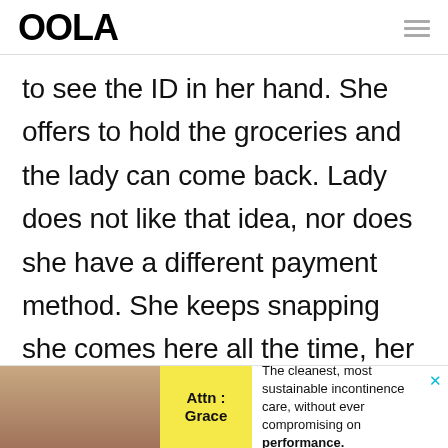OOLA
to see the ID in her hand. She offers to hold the groceries and the lady can come back. Lady does not like that idea, nor does she have a different payment method. She keeps snapping she comes here all the time, her checks have never
[Figure (infographic): Advertisement banner for Attn: Grace incontinence care product. Shows product image on left with yellow label block reading 'Attn: Grace' and text: 'The cleanest, most sustainable incontinence care, without ever compromising on performance.' with a close (X) button in cyan.]